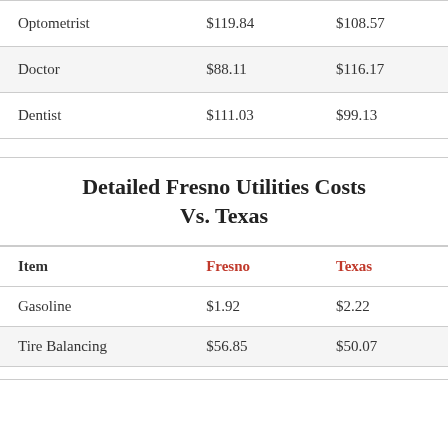| Optometrist | $119.84 | $108.57 |
| Doctor | $88.11 | $116.17 |
| Dentist | $111.03 | $99.13 |
Detailed Fresno Utilities Costs Vs. Texas
| Item | Fresno | Texas |
| --- | --- | --- |
| Gasoline | $1.92 | $2.22 |
| Tire Balancing | $56.85 | $50.07 |